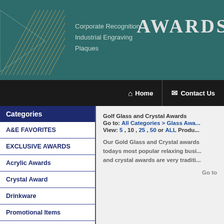[Figure (logo): Company header banner with teal background, diagonal gold lines on left, text listing Corporate Recognition, Industrial Engraving, Plaques, and AWARDS logo text on right]
Home | Contact Us
Categories
A&E FAVORITES
EXCLUSIVE AWARDS
Acrylic Awards
Crystal Award
Drinkware
Promotional Items
Golf Glass and Crystal Awards
Go to: All Categories > Glass Awa... View: 5 , 10 , 25 , 50 or ALL Produ...
Our Gold Glass and Crystal awards todays most popular relaxing busi... and crystal awards are very traditi...
Go to